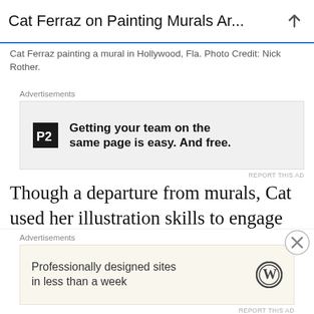Cat Ferraz on Painting Murals Ar...
Cat Ferraz painting a mural in Hollywood, Fla. Photo Credit: Nick Rother.
Advertisements
[Figure (screenshot): Advertisement banner: P2 logo icon with bold text 'Getting your team on the same page is easy. And free.']
REPORT THIS AD
Though a departure from murals, Cat used her illustration skills to engage kids during the COVID-19 lockdowns of 2020. The artist illustrated “I Wish I Had an Ice Cream Cone Tree” by Noah and Jennifer Tobias, a mother
Advertisements
[Figure (screenshot): Advertisement banner: Text 'Professionally designed sites in less than a week' with WordPress logo on the right side.]
REPORT THIS AD